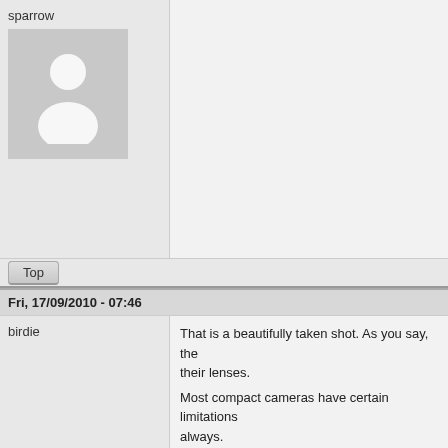sparrow
[Figure (illustration): Default user avatar silhouette on grey background]
Top
Fri, 17/09/2010 - 07:46
birdie
That is a beautifully taken shot. As you say, the their lenses.
Most compact cameras have certain limitations always.
The reason I like the EOS 1000D is because it learning camera. Plus... it is all I can afford and
Sunshine Coast Queensland